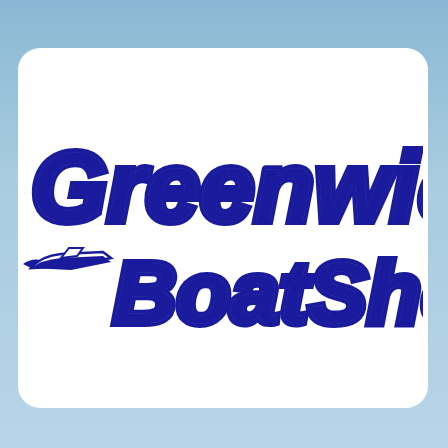[Figure (logo): Greenwich Boat Show .com logo — large bold italic dark blue text on white rounded rectangle card, with a speedboat icon to the left of 'Boat Show.com', set against a light blue water/sky background]